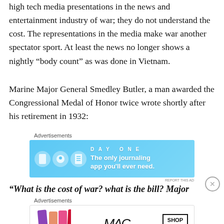high tech media presentations in the news and entertainment industry of war; they do not understand the cost. The representations in the media make war another spectator sport. At least the news no longer shows a nightly “body count” as was done in Vietnam.
Marine Major General Smedley Butler, a man awarded the Congressional Medal of Honor twice wrote shortly after his retirement in 1932:
[Figure (other): Advertisement for Day One journaling app on a blue background with app icons and tagline 'The only journaling app you'll ever need.']
“What is the cost of war? what is the bill? Major
[Figure (other): Advertisement for MAC cosmetics showing lipsticks and a 'SHOP NOW' button.]